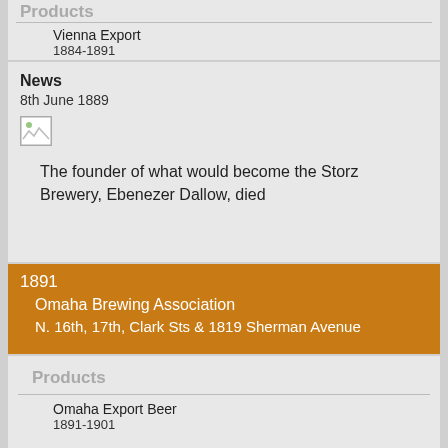Products
Vienna Export
1884-1891
News
8th June 1889
[Figure (photo): Small broken/placeholder image icon]
The founder of what would become the Storz Brewery, Ebenezer Dallow, died
1891
Omaha Brewing Association
N. 16th, 17th, Clark Sts & 1819 Sherman Avenue
Products
Omaha Export Beer
1891-1901